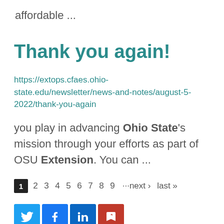affordable ...
Thank you again!
https://extops.cfaes.ohio-state.edu/newsletter/news-and-notes/august-5-2022/thank-you-again
you play in advancing Ohio State's mission through your efforts as part of OSU Extension. You can ...
1 2 3 4 5 6 7 8 9 ···next › last »
[Figure (other): Social media share icons: Twitter, Facebook, LinkedIn, and a share/bookmark icon]